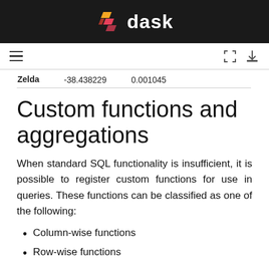dask
| Name | Value1 | Value2 |
| --- | --- | --- |
| Zelda | -38.438229 | 0.001045 |
Custom functions and aggregations
When standard SQL functionality is insufficient, it is possible to register custom functions for use in queries. These functions can be classified as one of the following:
Column-wise functions
Row-wise functions